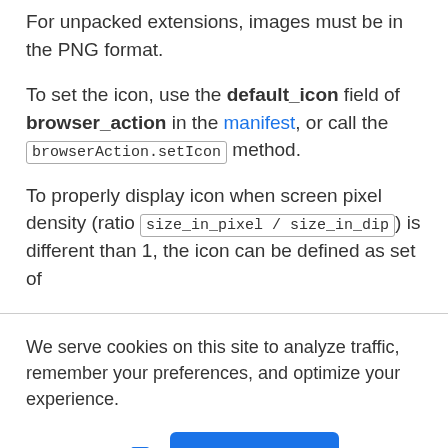For unpacked extensions, images must be in the PNG format.
To set the icon, use the default_icon field of browser_action in the manifest, or call the browserAction.setIcon method.
To properly display icon when screen pixel density (ratio size_in_pixel / size_in_dip) is different than 1, the icon can be defined as set of
We serve cookies on this site to analyze traffic, remember your preferences, and optimize your experience.
More details  Ok, Got it.